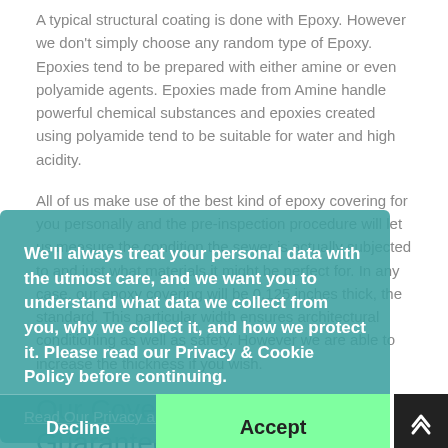A typical structural coating is done with Epoxy. However we don't simply choose any random type of Epoxy. Epoxies tend to be prepared with either amine or even polyamide agents. Epoxies made from Amine handle powerful chemical substances and epoxies created using polyamide tend to be suitable for water and high acidity.
All of us make use of the best kind of epoxy covering for you personally and the pre-inspection procedure will let us measure the condition the sewer is actually subjected to and just what materials it might be perfect for. In any case, our epoxy covering will be 0.125 inches thick, the standard. This particular width ensures architectural conditioning as well as safety. However we are able to increase the thickness if you wish.
[Figure (other): Cookie consent overlay with teal background. Text: 'We'll always treat your personal data with the utmost care, and we want you to understand what data we collect from you, why we collect it, and how we protect it. Please read our Privacy & Cookie Policy before continuing.' Link: 'Read Our Privacy and Cookie Policy'. Buttons: 'Decline' (left, teal) and 'Accept' (right, green).]
Our Coventry Service Guarantee
Quickly return to normalcy: As an organization that honestly cares about your needs, we know you'd rather have your